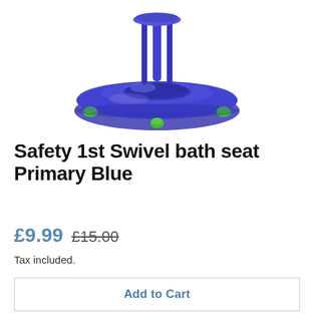[Figure (photo): Blue plastic baby bath seat with green suction cup feet, viewed from above at an angle. The seat is circular with a ring frame and safety suction cups on the base.]
Safety 1st Swivel bath seat Primary Blue
£9.99 £15.00
Tax included.
Add to Cart